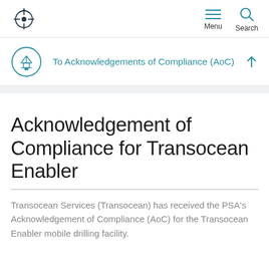Menu  Search
To Acknowledgements of Compliance (AoC)
Acknowledgement of Compliance for Transocean Enabler
Transocean Services (Transocean) has received the PSA's Acknowledgement of Compliance (AoC) for the Transocean Enabler mobile drilling facility.